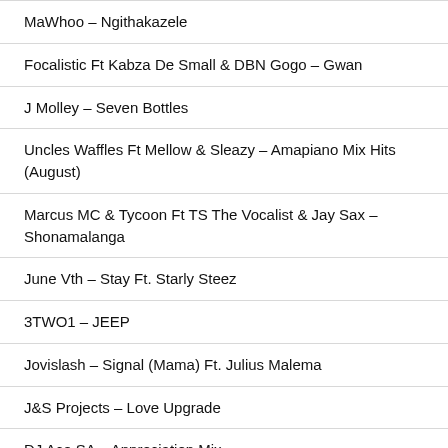MaWhoo – Ngithakazele
Focalistic Ft Kabza De Small & DBN Gogo – Gwan
J Molley – Seven Bottles
Uncles Waffles Ft Mellow & Sleazy – Amapiano Mix Hits (August)
Marcus MC & Tycoon Ft TS The Vocalist & Jay Sax – Shonamalanga
June Vth – Stay Ft. Starly Steez
3TWO1 – JEEP
Jovislash – Signal (Mama) Ft. Julius Malema
J&S Projects – Love Upgrade
DJ Ace SA – Appreciation Mix
Mdu a.k.a TRP – Controlling Those Bars
Kabza De Small – Ulango Khula